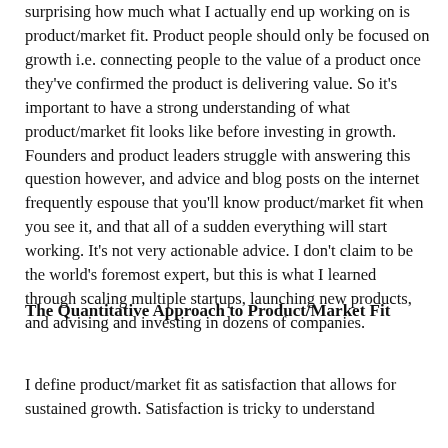surprising how much what I actually end up working on is product/market fit. Product people should only be focused on growth i.e. connecting people to the value of a product once they've confirmed the product is delivering value. So it's important to have a strong understanding of what product/market fit looks like before investing in growth. Founders and product leaders struggle with answering this question however, and advice and blog posts on the internet frequently espouse that you'll know product/market fit when you see it, and that all of a sudden everything will start working. It's not very actionable advice. I don't claim to be the world's foremost expert, but this is what I learned through scaling multiple startups, launching new products, and advising and investing in dozens of companies.
The Quantitative Approach to Product/Market Fit
I define product/market fit as satisfaction that allows for sustained growth. Satisfaction is tricky to understand